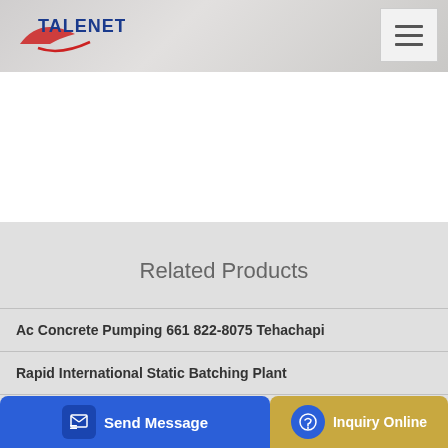TALENET
[Figure (logo): Talenet company logo with red swoosh and blue TALENET text]
Related Products
Ac Concrete Pumping 661 822-8075 Tehachapi
Rapid International Static Batching Plant
X4 C
Send Message  |  Inquiry Online